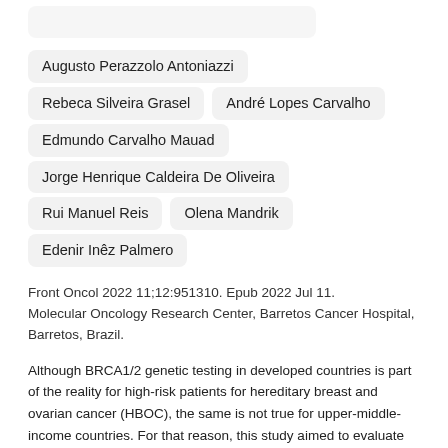Augusto Perazzolo Antoniazzi
Rebeca Silveira Grasel
André Lopes Carvalho
Edmundo Carvalho Mauad
Jorge Henrique Caldeira De Oliveira
Rui Manuel Reis
Olena Mandrik
Edenir Inêz Palmero
Front Oncol 2022 11;12:951310. Epub 2022 Jul 11. Molecular Oncology Research Center, Barretos Cancer Hospital, Barretos, Brazil.
Although BRCA1/2 genetic testing in developed countries is part of the reality for high-risk patients for hereditary breast and ovarian cancer (HBOC), the same is not true for upper-middle-income countries. For that reason, this study aimed to evaluate whether the BRCA1/2 genetic test and preventive